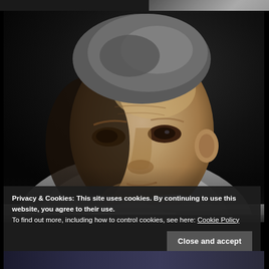[Figure (photo): Close-up portrait photograph of an older man with grey hair, looking serious, slightly from the side, against a dark background. The image is slightly desaturated/muted in color tone.]
Privacy & Cookies: This site uses cookies. By continuing to use this website, you agree to their use.
To find out more, including how to control cookies, see here: Cookie Policy